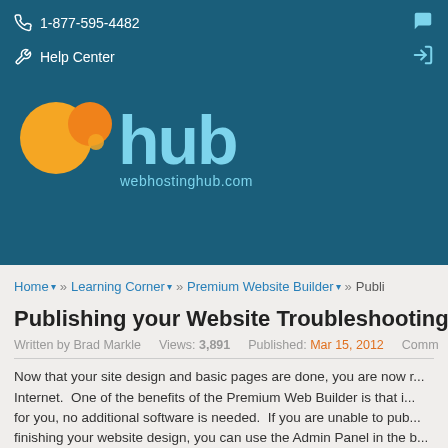1-877-595-4482
Help Center
[Figure (logo): Web Hosting Hub logo: orange circle icons with 'hub' text and 'webhostinghub.com' below on dark teal background]
Home » Learning Corner » Premium Website Builder » Publi...
Publishing your Website Troubleshooting
Written by Brad Markle   Views: 3,891   Published: Mar 15, 2012   Comm...
Now that your site design and basic pages are done, you are now r... Internet.  One of the benefits of the Premium Web Builder is that i... for you, no additional software is needed.  If you are unable to pub... finishing your website design, you can use the Admin Panel in the b... changes needed to your publishing settings.